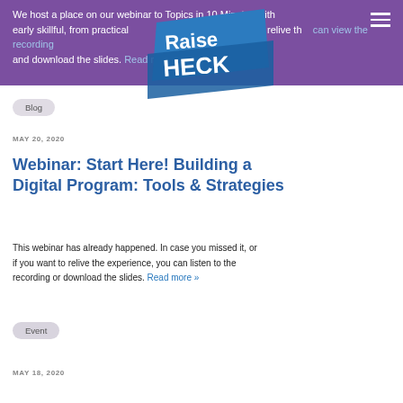We host a place on our webinar to Topics in 10 Minutes with early skillful, from practical ... you want to relive the experience, you can view the recording and download the slides. Read more »
[Figure (logo): Raise HECK logo — white text on blue/teal angular banner shapes]
Blog
MAY 20, 2020
Webinar: Start Here! Building a Digital Program: Tools & Strategies
This webinar has already happened. In case you missed it, or if you want to relive the experience, you can listen to the recording or download the slides. Read more »
Event
MAY 18, 2020